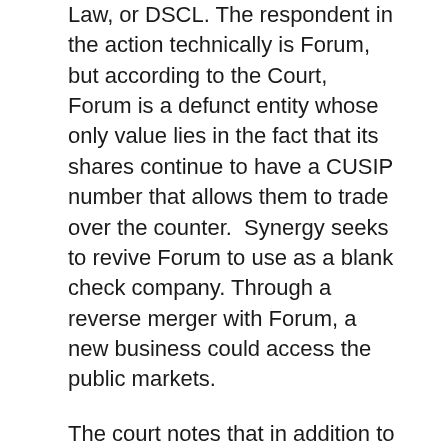Law, or DSCL. The respondent in the action technically is Forum, but according to the Court, Forum is a defunct entity whose only value lies in the fact that its shares continue to have a CUSIP number that allows them to trade over the counter.  Synergy seeks to revive Forum to use as a blank check company. Through a reverse merger with Forum, a new business could access the public markets.
The court notes that in addition to not complying with the federal securities laws, Forum has failed to comply with Delaware law. It does not maintain a registered agent within the State of Delaware, has not filed annual reports with the Delaware Secretary of State, and has not held an annual meeting of stockholders. The Delaware Secretary of State's website lists